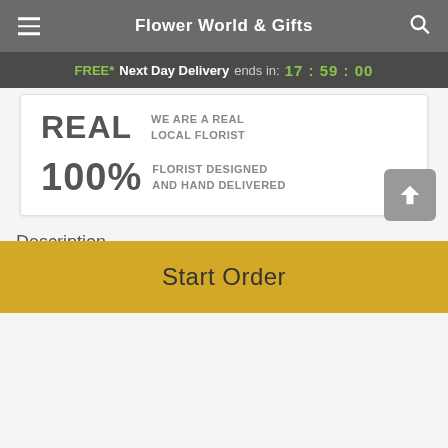Flower World & Gifts
FREE* Next Day Delivery ends in: 17:59:00
REAL WE ARE A REAL LOCAL FLORIST
100% FLORIST DESIGNED AND HAND DELIVERED
Description
Oh, the joy! Bursting with warm colors and intoxicating scents, these blooms are a delight for the senses. Send it
Start Order